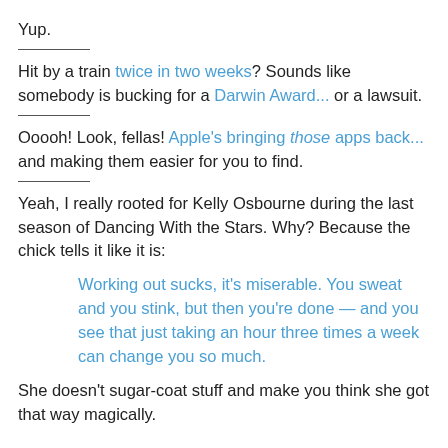Yup.
Hit by a train twice in two weeks? Sounds like somebody is bucking for a Darwin Award... or a lawsuit.
Ooooh! Look, fellas! Apple's bringing those apps back... and making them easier for you to find.
Yeah, I really rooted for Kelly Osbourne during the last season of Dancing With the Stars. Why? Because the chick tells it like it is:
Working out sucks, it's miserable. You sweat and you stink, but then you're done — and you see that just taking an hour three times a week can change you so much.
She doesn't sugar-coat stuff and make you think she got that way magically.